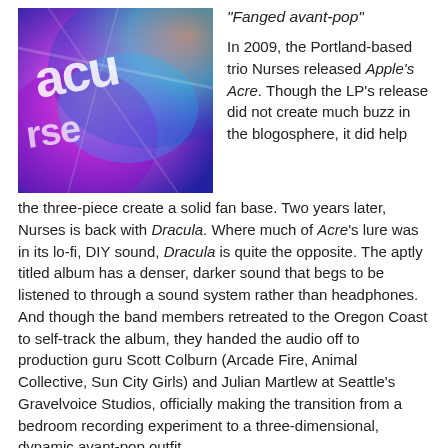[Figure (photo): Colorful abstract album art with bright pink, purple, blue colors and stylized text overlay]
“Fanged avant-pop”
In 2009, the Portland-based trio Nurses released Apple’s Acre. Though the LP’s release did not create much buzz in the blogosphere, it did help the three-piece create a solid fan base. Two years later, Nurses is back with Dracula. Where much of Acre’s lure was in its lo-fi, DIY sound, Dracula is quite the opposite. The aptly titled album has a denser, darker sound that begs to be listened to through a sound system rather than headphones. And though the band members retreated to the Oregon Coast to self-track the album, they handed the audio off to production guru Scott Colburn (Arcade Fire, Animal Collective, Sun City Girls) and Julian Martlew at Seattle’s Gravelvoice Studios, officially making the transition from a bedroom recording experiment to a three-dimensional, dynamic avant-pop outfit.
▾ Article continues below ▾